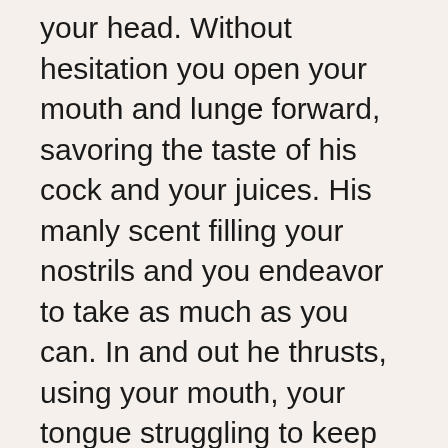your head. Without hesitation you open your mouth and lunge forward, savoring the taste of his cock and your juices. His manly scent filling your nostrils and you endeavor to take as much as you can. In and out he thrusts, using your mouth, your tongue struggling to keep up and pleasure him. You feel him start to swell